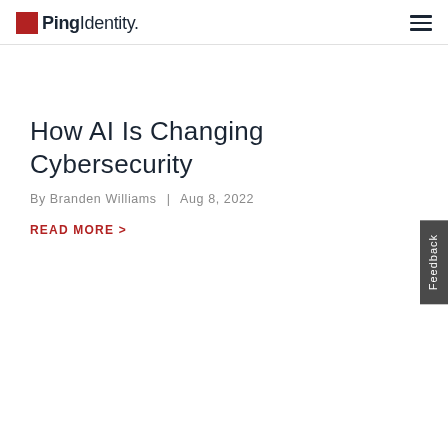Ping Identity
How AI Is Changing Cybersecurity
By Branden Williams | Aug 8, 2022
READ MORE >